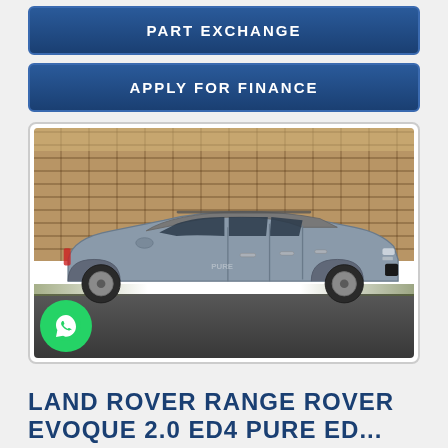PART EXCHANGE
APPLY FOR FINANCE
[Figure (photo): Side profile photo of a silver Land Rover Range Rover Evoque parked in front of a brick wall on a dark asphalt surface. A green WhatsApp chat button is overlaid in the bottom-left corner of the image.]
LAND ROVER RANGE ROVER EVOQUE 2.0 ED4 PURE ED...